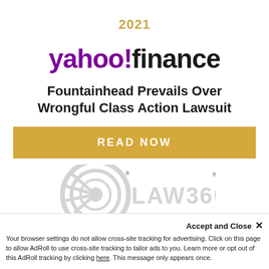2021
[Figure (logo): Yahoo Finance logo with purple 'yahoo!' and dark 'finance' text]
Fountainhead Prevails Over Wrongful Class Action Lawsuit
READ NOW
[Figure (logo): Law360 logo partially visible at bottom]
Accept and Close ×
Your browser settings do not allow cross-site tracking for advertising. Click on this page to allow AdRoll to use cross-site tracking to tailor ads to you. Learn more or opt out of this AdRoll tracking by clicking here. This message only appears once.